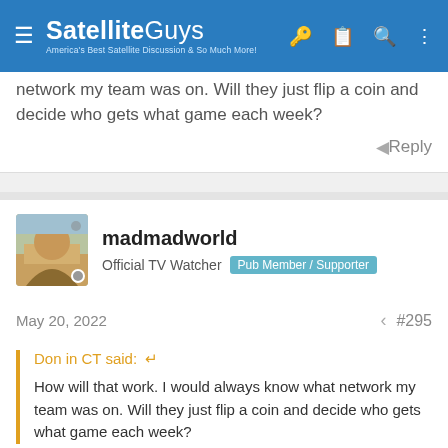SatelliteGuys — America's Best Satellite Discussion & So Much More!
network my team was on. Will they just flip a coin and decide who gets what game each week?
Reply
madmadworld
Official TV Watcher  Pub Member / Supporter
May 20, 2022  #295
Don in CT said: ↩

How will that work. I would always know what network my team was on. Will they just flip a coin and decide who gets what game each week?
That wasn't worked for awhile for me. my AFC team